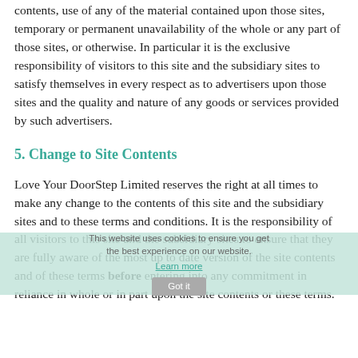contents, use of any of the material contained upon those sites, temporary or permanent unavailability of the whole or any part of those sites, or otherwise. In particular it is the exclusive responsibility of visitors to this site and the subsidiary sites to satisfy themselves in every respect as to advertisers upon those sites and the quality and nature of any goods or services provided by such advertisers.
5. Change to Site Contents
Love Your DoorStep Limited reserves the right at all times to make any change to the contents of this site and the subsidiary sites and to these terms and conditions. It is the responsibility of all visitors to this site and the subsidiary sites to ensure that they are fully aware of the most up to date version of the site contents and of these terms before entering into any commitment in reliance in whole or in part upon the site contents or these terms.